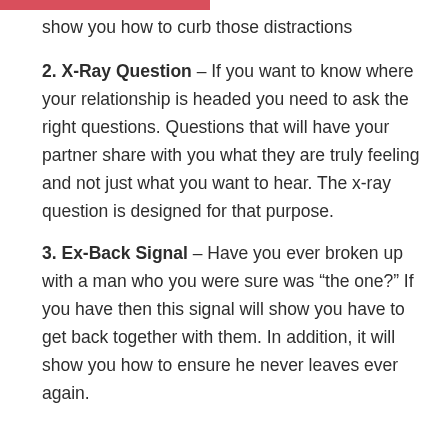show you how to curb those distractions
2. X-Ray Question – If you want to know where your relationship is headed you need to ask the right questions. Questions that will have your partner share with you what they are truly feeling and not just what you want to hear. The x-ray question is designed for that purpose.
3. Ex-Back Signal – Have you ever broken up with a man who you were sure was “the one?” If you have then this signal will show you have to get back together with them. In addition, it will show you how to ensure he never leaves ever again.